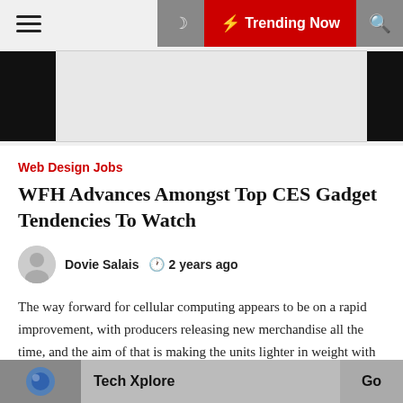Trending Now
Web Design Jobs
WFH Advances Amongst Top CES Gadget Tendencies To Watch
Dovie Salais  2 years ago
The way forward for cellular computing appears to be on a rapid improvement, with producers releasing new merchandise all the time, and the aim of that is making the units lighter in weight with greater screens and more compatibility and velocity of the devices. BusinessInsider is the rapidly grown technology news associated [...]
Tech Xplore  Go